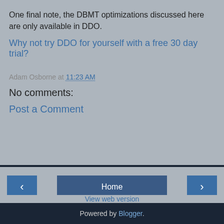One final note, the DBMT optimizations discussed here are only available in DDO.
Why not try DDO for yourself with a free 30 day trial?
Adam Osborne at 11:23 AM
No comments:
Post a Comment
Home | < | > | View web version | Powered by Blogger.